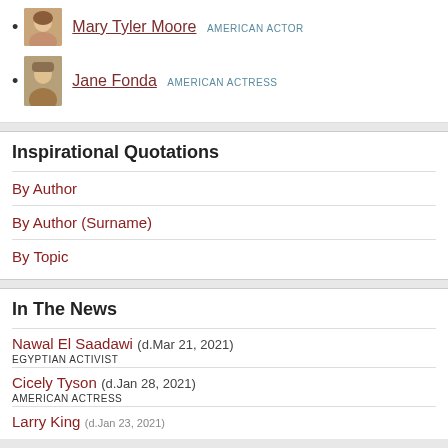Mary Tyler Moore AMERICAN ACTOR
Jane Fonda AMERICAN ACTRESS
Inspirational Quotations
By Author
By Author (Surname)
By Topic
In The News
Nawal El Saadawi (d.Mar 21, 2021) EGYPTIAN ACTIVIST
Cicely Tyson (d.Jan 28, 2021) AMERICAN ACTRESS